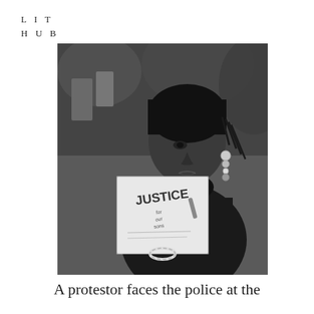LIT HUB
[Figure (photo): Black and white photograph of a young Black woman wearing a black turtleneck and dark head wrap, holding a handwritten protest sign reading 'JUSTICE'. She wears decorative earrings and a beaded bracelet. The background shows other protesters and blurred foliage.]
A protestor faces the police at the